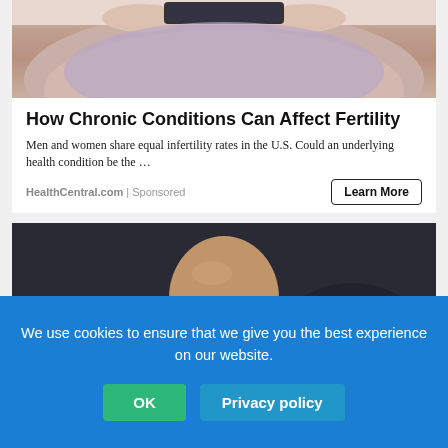[Figure (photo): Photo of a person lying down holding a smartphone above their face, showing hands and phone against a light background]
How Chronic Conditions Can Affect Fertility
Men and women share equal infertility rates in the U.S. Could an underlying health condition be the …
HealthCentral.com | Sponsored
Learn More
[Figure (photo): Photo of a bald man against a dark background]
We use cookies to ensure that we give you the best experience on our website.
OK
Privacy policy